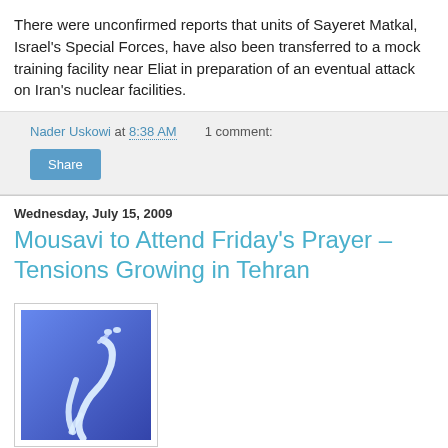There were unconfirmed reports that units of Sayeret Matkal, Israel's Special Forces, have also been transferred to a mock training facility near Eliat in preparation of an eventual attack on Iran's nuclear facilities.
Nader Uskowi at 8:38 AM   1 comment:
Share
Wednesday, July 15, 2009
Mousavi to Attend Friday's Prayer – Tensions Growing in Tehran
[Figure (illustration): Blue background with white Arabic calligraphy character]